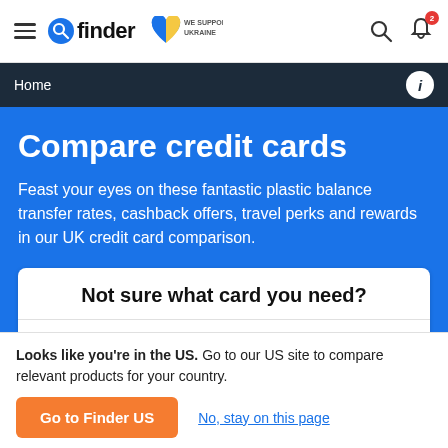finder — WE SUPPORT UKRAINE
Home
Compare credit cards
Feast your eyes on these fantastic plastic balance transfer rates, cashback offers, travel perks and rewards in our UK credit card comparison.
Not sure what card you need?
This quick 3-question quiz will
Looks like you're in the US. Go to our US site to compare relevant products for your country.
Go to Finder US
No, stay on this page